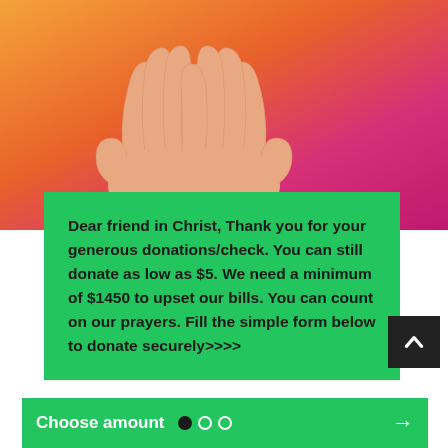[Figure (illustration): Illustration of two open hands raised upward against a warm gradient background transitioning from orange/yellow at the bottom to magenta/pink at the top.]
Dear friend in Christ, Thank you for your generous donations/check. You can still donate as low as $5. We need a minimum of $1450 to upset our bills. You can count on our prayers. Fill the simple form below to donate securely>>>>
Choose amount